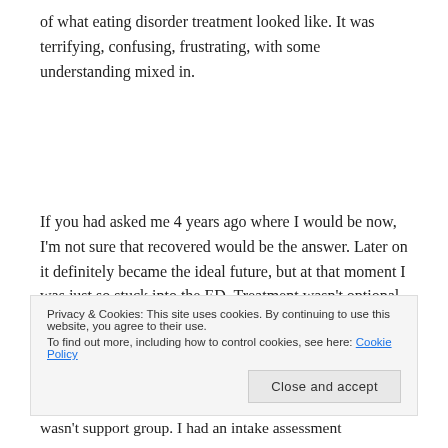of what eating disorder treatment looked like. It was terrifying, confusing, frustrating, with some understanding mixed in.
If you had asked me 4 years ago where I would be now, I'm not sure that recovered would be the answer. Later on it definitely became the ideal future, but at that moment I was just so stuck into the ED. Treatment wasn't optional and I was angry that I had
Privacy & Cookies: This site uses cookies. By continuing to use this website, you agree to their use.
To find out more, including how to control cookies, see here: Cookie Policy
wasn't support group. I had an intake assessment